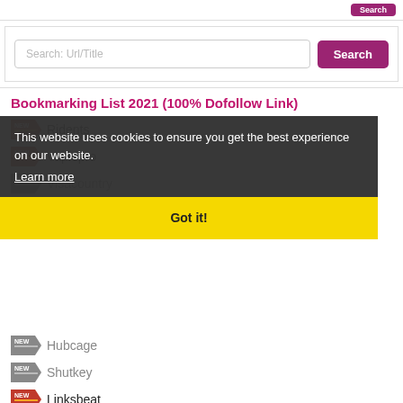[Figure (screenshot): Search bar with placeholder 'Search: Url/Title' and a purple 'Search' button]
Bookmarking List 2021 (100% Dofollow Link)
Ridents
Vapidpro
Visacountry
Carentine
Hubcage
Shutkey
Linksbeat
This website uses cookies to ensure you get the best experience on our website. Learn more
Got it!